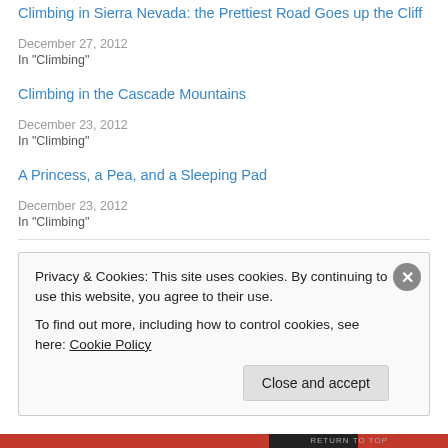Climbing in Sierra Nevada: the Prettiest Road Goes up the Cliff
December 27, 2012
In "Climbing"
Climbing in the Cascade Mountains
December 23, 2012
In "Climbing"
A Princess, a Pea, and a Sleeping Pad
December 23, 2012
In "Climbing"
December 23, 2012
2 Replies
Privacy & Cookies: This site uses cookies. By continuing to use this website, you agree to their use. To find out more, including how to control cookies, see here: Cookie Policy
Close and accept